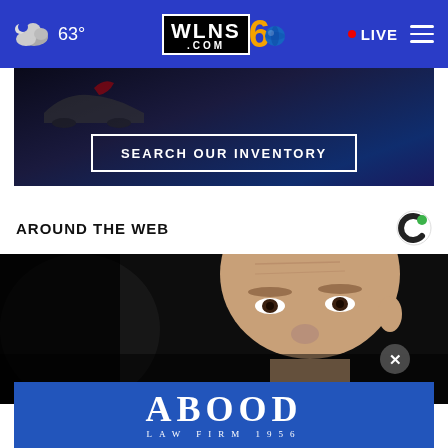WLNS 6 .COM — 63° — LIVE
[Figure (screenshot): Car dealership advertisement banner with 'SEARCH OUR INVENTORY' button on dark blue/black gradient background]
AROUND THE WEB
[Figure (photo): Close-up photo of a bald middle-aged man's face against a dark background]
[Figure (logo): Abood Law Firm 1956 advertisement banner in blue with white serif text]